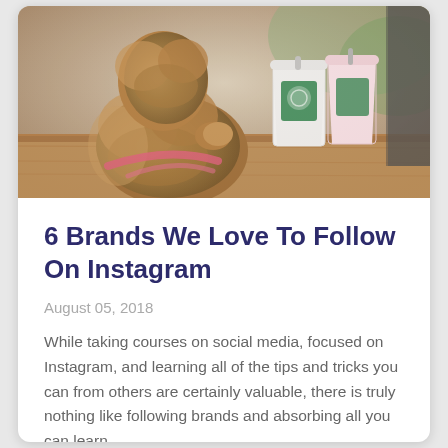[Figure (photo): A fluffy brown dog looking at Starbucks cups on a wooden surface, viewed from behind, wearing a pink harness. Two Starbucks cups are visible on the right side.]
6 Brands We Love To Follow On Instagram
August 05, 2018
While taking courses on social media, focused on Instagram, and learning all of the tips and tricks you can from others are certainly valuable, there is truly nothing like following brands and absorbing all you can learn